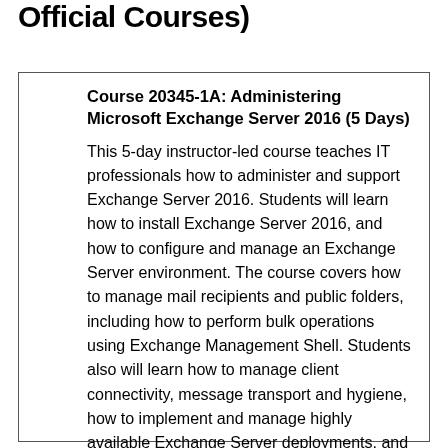Official Courses)
Course 20345-1A: Administering Microsoft Exchange Server 2016 (5 Days)
This 5-day instructor-led course teaches IT professionals how to administer and support Exchange Server 2016. Students will learn how to install Exchange Server 2016, and how to configure and manage an Exchange Server environment. The course covers how to manage mail recipients and public folders, including how to perform bulk operations using Exchange Management Shell. Students also will learn how to manage client connectivity, message transport and hygiene, how to implement and manage highly available Exchange Server deployments, and how to